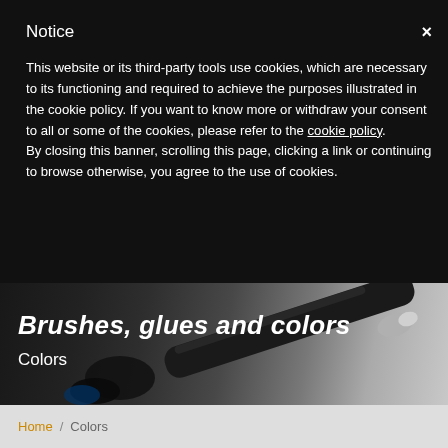Notice
This website or its third-party tools use cookies, which are necessary to its functioning and required to achieve the purposes illustrated in the cookie policy. If you want to know more or withdraw your consent to all or some of the cookies, please refer to the cookie policy. By closing this banner, scrolling this page, clicking a link or continuing to browse otherwise, you agree to the use of cookies.
Brushes, glues and colors
Colors
Home / Colors